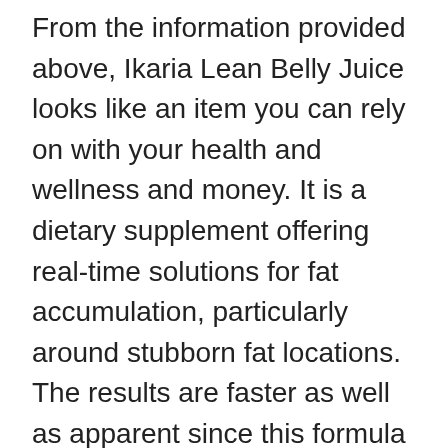From the information provided above, Ikaria Lean Belly Juice looks like an item you can rely on with your health and wellness and money. It is a dietary supplement offering real-time solutions for fat accumulation, particularly around stubborn fat locations. The results are faster as well as apparent since this formula targets the underlying risk factors contributing to obesity. The components are trustworthy, and also the client reviews verify that everything the business states regarding this formula holds true.
Every active ingredient inside this formula is evaluated and validated through independent testing, however the supplement in its entirety has actually not been set for a professional test. Generally, the supplements do not also need a trial